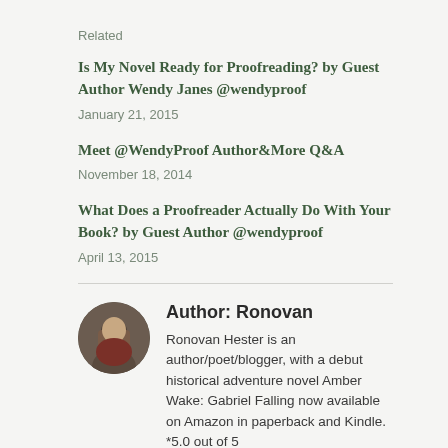Related
Is My Novel Ready for Proofreading? by Guest Author Wendy Janes @wendyproof
January 21, 2015
Meet @WendyProof Author&More Q&A
November 18, 2014
What Does a Proofreader Actually Do With Your Book? by Guest Author @wendyproof
April 13, 2015
Author: Ronovan
Ronovan Hester is an author/poet/blogger, with a debut historical adventure novel Amber Wake: Gabriel Falling now available on Amazon in paperback and Kindle. *5.0 out of 5